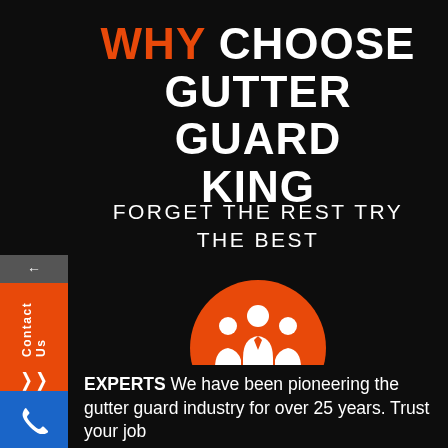WHY CHOOSE GUTTER GUARD KING
FORGET THE REST TRY THE BEST
[Figure (illustration): Orange circle icon with white silhouette of three people/team figures]
EXPERTS We have been pioneering the gutter guard industry for over 25 years. Trust your job